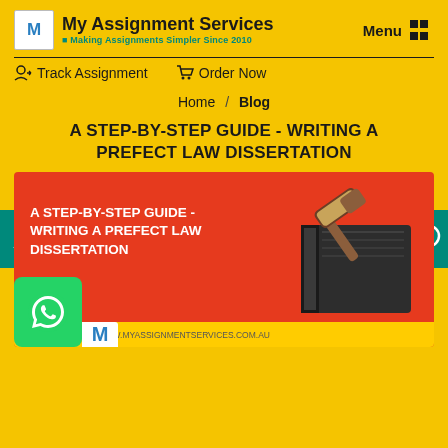My Assignment Services - Making Assignments Simpler Since 2010
Track Assignment   Order Now
Home / Blog
A STEP-BY-STEP GUIDE - WRITING A PREFECT LAW DISSERTATION
[Figure (illustration): Featured image with red background showing text 'A STEP-BY-STEP GUIDE - WRITING A PREFECT LAW DISSERTATION' and an illustration of a law book with a gavel on top. At the bottom: My Assignment Services branding.]